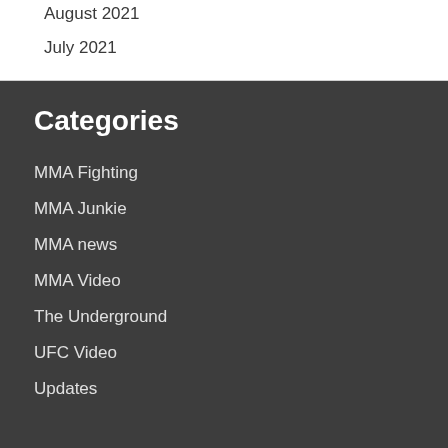August 2021
July 2021
Categories
MMA Fighting
MMA Junkie
MMA news
MMA Video
The Underground
UFC Video
Updates